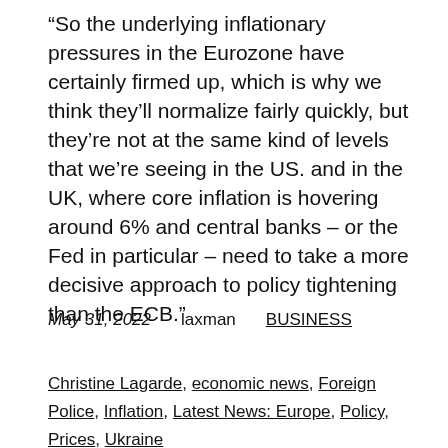“So the underlying inflationary pressures in the Eurozone have certainly firmed up, which is why we think they’ll normalize fairly quickly, but they’re not at the same kind of levels that we’re seeing in the US. and in the UK, where core inflation is hovering around 6% and central banks – or the Fed in particular – need to take a more decisive approach to policy tightening than the ECB.”
May 31, 2022    laxman    BUSINESS
Christine Lagarde, economic news, Foreign Police, Inflation, Latest News: Europe, Policy, Prices, Ukraine